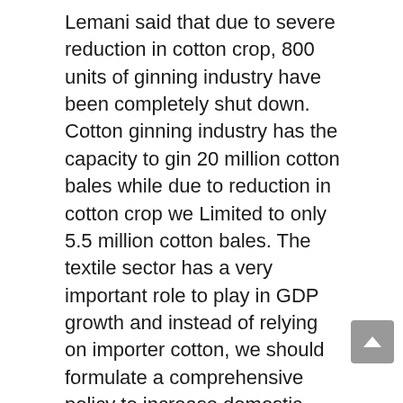Lemani said that due to severe reduction in cotton crop, 800 units of ginning industry have been completely shut down. Cotton ginning industry has the capacity to gin 20 million cotton bales while due to reduction in cotton crop we Limited to only 5.5 million cotton bales. The textile sector has a very important role to play in GDP growth and instead of relying on importer cotton, we should formulate a comprehensive policy to increase domestic cotton production and we need to follow the developing countries in the cotton crop. To increase the cotton crop. Former Chairman Sohail Mehmood Hurl presented demands to the government for the rehabilitation of cotton in which the sales tax and other taxes levied on cotton for the rehabilitation of cotton should be abolished immediately so that the farmer can